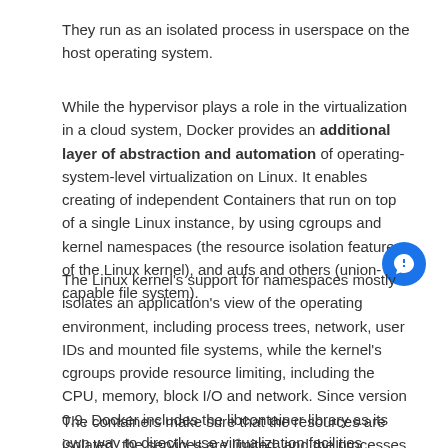They run as an isolated process in userspace on the host operating system.
While the hypervisor plays a role in the virtualization in a cloud system, Docker provides an additional layer of abstraction and automation of operating-system-level virtualization on Linux. It enables creating of independent Containers that run on top of a single Linux instance, by using cgroups and kernel namespaces (the resource isolation features of the Linux kernel), and aufs and others (union-capable file system).
The Linux kernel's support for namespaces mostly isolates an application's view of the operating environment, including process trees, network, user IDs and mounted file systems, while the kernel's cgroups provide resource limiting, including the CPU, memory, block I/O and network. Since version 0.9, Docker includes the libcontainer library as its own way to directly use virtualization facilities provided by the Linux kernel, in addition to using abstracted virtualization interfaces via libvirt, LXC (Linux Containers) and systemd-nspawn.
The containers make sure that the resources are isolated, the services are limited, and the processes provisioned, so that each